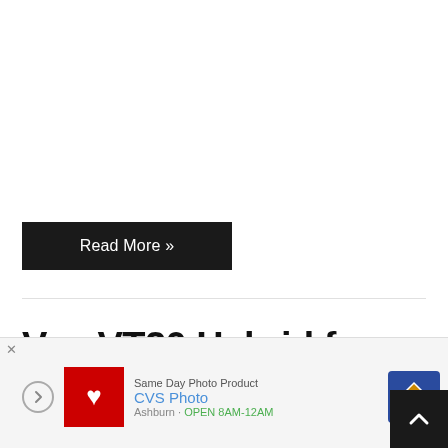Read More »
Vox VT20 Hybrid for the masses
[Figure (screenshot): Advertisement banner showing CVS Photo same-day photo products with CVS pharmacy logo, navigation arrow icon, and location 'Ashburn · OPEN 8AM-12AM']